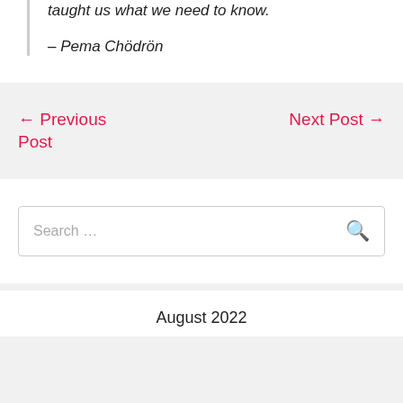taught us what we need to know.
– Pema Chödrön
← Previous Post
Next Post →
Search …
August 2022